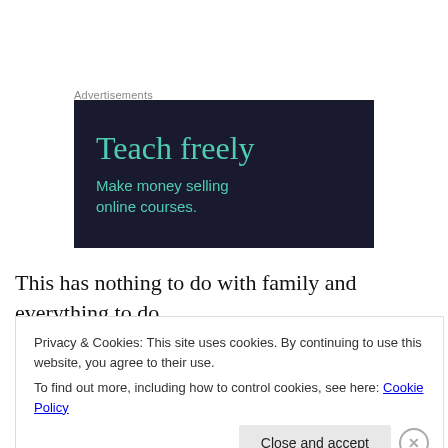Advertisements
[Figure (illustration): Dark navy advertisement box with teal text reading 'Teach freely' and subtitle 'Make money selling online courses.']
This has nothing to do with family and everything to do with me. My family and in particular my husband Steve
Privacy & Cookies: This site uses cookies. By continuing to use this website, you agree to their use.
To find out more, including how to control cookies, see here: Cookie Policy
Close and accept